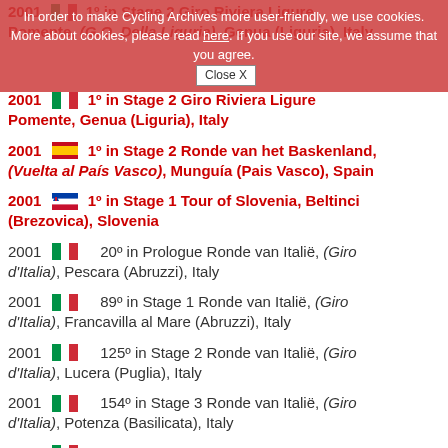In order to make Cycling Archives more user-friendly, we use cookies. More about cookies, please read here. If you use our site, we assume that you agree. Close X
2001 [IT] 1º in Stage 2 Giro Riviera Ligure Pomente, (G.O. Della Liguria), Genua (Liguria), Italy
2001 [IT] 1º in Stage 2 Giro Riviera Ligure Pomente, Genua (Liguria), Italy
2001 [ES] 1º in Stage 2 Ronde van het Baskenland, (Vuelta al País Vasco), Munguía (Pais Vasco), Spain
2001 [SI] 1º in Stage 1 Tour of Slovenia, Beltinci (Brezovica), Slovenia
2001 [IT] 20º in Prologue Ronde van Italië, (Giro d'Italia), Pescara (Abruzzi), Italy
2001 [IT] 89º in Stage 1 Ronde van Italië, (Giro d'Italia), Francavilla al Mare (Abruzzi), Italy
2001 [IT] 125º in Stage 2 Ronde van Italië, (Giro d'Italia), Lucera (Puglia), Italy
2001 [IT] 154º in Stage 3 Ronde van Italië, (Giro d'Italia), Potenza (Basilicata), Italy
2001 [IT] 158º in Stage 4 Ronde van Italië, (Giro d'Italia), Mercogliano (Campania), Italy
2001 [IT] 17º in Stage 5 Ronde van Italië, (Giro d'Italia), Nettuno (Lazio), Italy
2001 [IT] 22º in Stage 6 Ronde van Italië, (Giro d'Italia), Rieti (Lazio), Italy